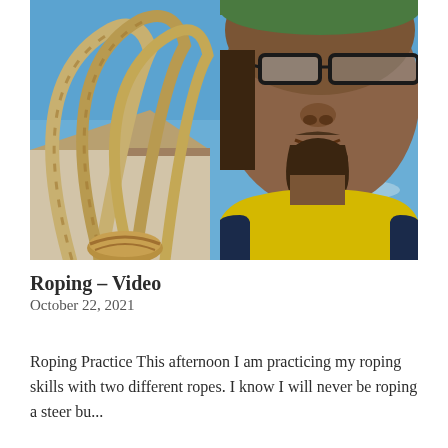[Figure (photo): Selfie photo of a man with glasses and a goatee, wearing a yellow shirt and dark jacket, holding a lasso rope with looping coils in the foreground. A house roof and blue sky are visible in the background.]
Roping – Video
October 22, 2021
Roping Practice This afternoon I am practicing my roping skills with two different ropes. I know I will never be roping a steer bu...